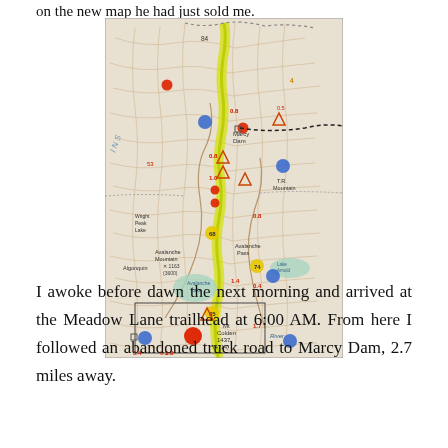on the new map he had just sold me.
[Figure (map): Topographic trail map of the Adirondacks showing hiking routes, mountains including Avalanche Mountain, Mt. Colden (1437/4714), Marcy Dam, TR Mountain, and Avalanche Lake. A yellow highlighted trail route is marked. Various colored dots (red, blue, yellow) mark points of interest. Distance markers in red are shown along trails.]
I awoke before dawn the next morning and arrived at the Meadow Lane trailhead at 6:00 AM. From here I followed an abandoned truck road to Marcy Dam, 2.7 miles away.